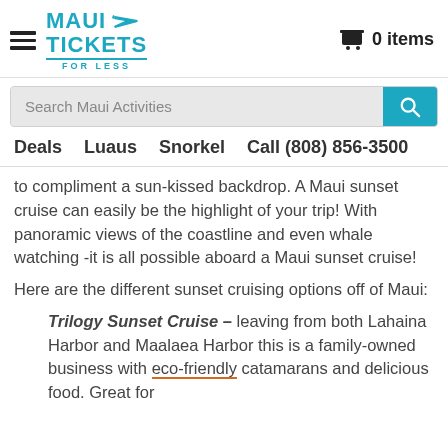MAUI TICKETS FOR LESS — 0 items
Search Maui Activities
Deals   Luaus   Snorkel   Call (808) 856-3500
to compliment a sun-kissed backdrop. A Maui sunset cruise can easily be the highlight of your trip! With panoramic views of the coastline and even whale watching -it is all possible aboard a Maui sunset cruise!
Here are the different sunset cruising options off of Maui:
Trilogy Sunset Cruise – leaving from both Lahaina Harbor and Maalaea Harbor this is a family-owned business with eco-friendly catamarans and delicious food. Great for